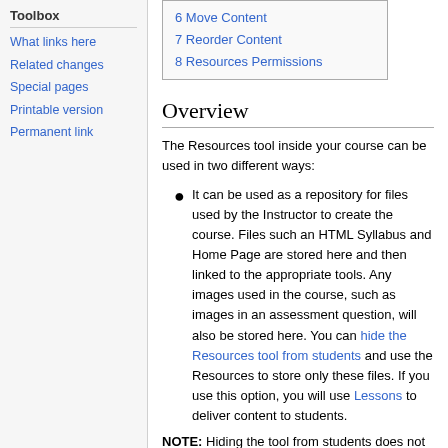Toolbox
What links here
Related changes
Special pages
Printable version
Permanent link
| 6 Move Content |
| 7 Reorder Content |
| 8 Resources Permissions |
Overview
The Resources tool inside your course can be used in two different ways:
It can be used as a repository for files used by the Instructor to create the course. Files such an HTML Syllabus and Home Page are stored here and then linked to the appropriate tools. Any images used in the course, such as images in an assessment question, will also be stored here. You can hide the Resources tool from students and use the Resources to store only these files. If you use this option, you will use Lessons to deliver content to students.
NOTE: Hiding the tool from students does not prevent students from accessing the Resources in other ways. You should not